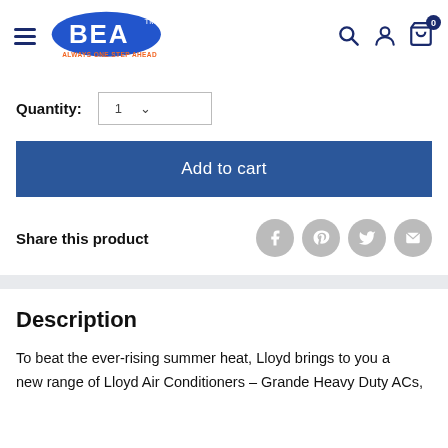BEA - Always One Step Ahead
Quantity: 1
Add to cart
Share this product
Description
To beat the ever-rising summer heat, Lloyd brings to you a new range of Lloyd Air Conditioners – Grande Heavy Duty ACs,